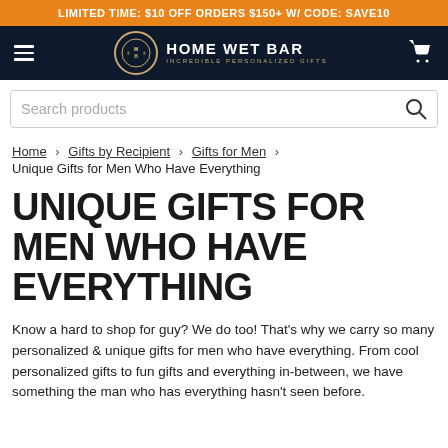LIMITED TIME: $10 OFF ORDERS $150+ W/ CODE: SAVE10
[Figure (logo): Home Wet Bar logo — circular crest with H&B monogram, text HOME WET BAR INCREDIBLE PERSONALIZED GIFTS in white on dark navy background, with hamburger menu and cart icon]
Search products
Home › Gifts by Recipient › Gifts for Men › Unique Gifts for Men Who Have Everything
UNIQUE GIFTS FOR MEN WHO HAVE EVERYTHING
Know a hard to shop for guy? We do too! That's why we carry so many personalized & unique gifts for men who have everything. From cool personalized gifts to fun gifts and everything in-between, we have something the man who has everything hasn't seen before.